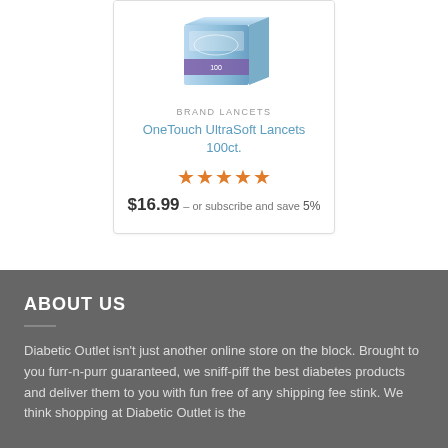[Figure (photo): Product image of OneTouch UltraSoft Lancets 100ct. box, blue packaging with purple accents]
BRAND LANCETS
OneTouch UltraSoft Lancets 100ct.
★★★★★
$16.99 – or subscribe and save 5%
ABOUT US
Diabetic Outlet isn't just another online store on the block. Brought to you furr-n-purr guaranteed, we sniff-piff the best diabetes products and deliver them to you with fun free of any shipping fee stink. We think shopping at Diabetic Outlet is the